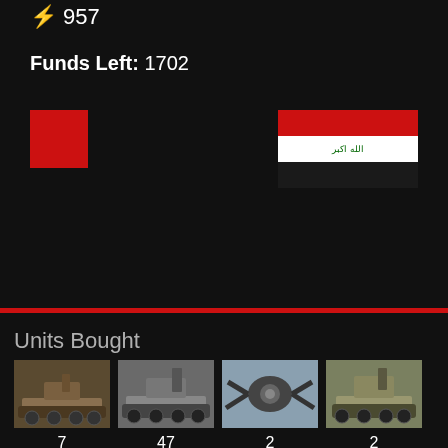⚡ 957
Funds Left: 1702
[Figure (illustration): Red square color swatch]
[Figure (illustration): Iraqi flag with red, white, and black horizontal stripes and Arabic text]
Units Bought
[Figure (photo): Military tank unit image, count: 7]
[Figure (photo): Military tank unit image, count: 47]
[Figure (photo): Spider/mechanical unit image, count: 2]
[Figure (photo): Military tank unit image, count: 2]
Infantry Bought
[Figure (photo): Infantry soldier with gas mask, count: 16]
[Figure (photo): Infantry soldier with equipment, count: 2]
[Figure (photo): Infantry soldier with heavy gear, count: 3]
[Figure (photo): Dog unit image, count: 28]
Planes Bought